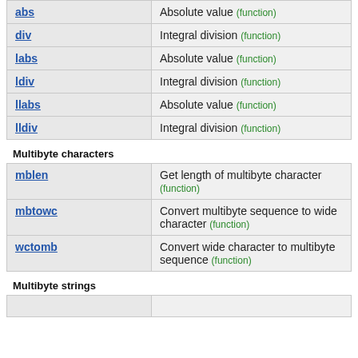| Function | Description |
| --- | --- |
| abs | Absolute value (function) |
| div | Integral division (function) |
| labs | Absolute value (function) |
| ldiv | Integral division (function) |
| llabs | Absolute value (function) |
| lldiv | Integral division (function) |
Multibyte characters
| Function | Description |
| --- | --- |
| mblen | Get length of multibyte character (function) |
| mbtowc | Convert multibyte sequence to wide character (function) |
| wctomb | Convert wide character to multibyte sequence (function) |
Multibyte strings